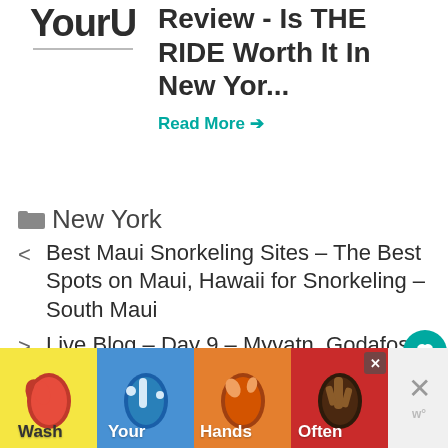[Figure (logo): YourU logo with gray underline]
Review - Is THE RIDE Worth It In New Yor...
Read More →
New York
< Best Maui Snorkeling Sites – The Best Spots on Maui, Hawaii for Snorkeling – South Maui
> Live Blog – Day 9 – Myvatn, Godafoss and Akureyri
[Figure (infographic): Wash Your Hands Often advertisement banner with colorful hand washing panels and close buttons]